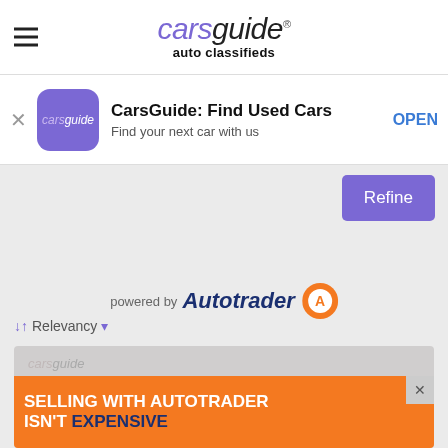carsguide auto classifieds
[Figure (screenshot): CarsGuide app install banner with icon, title 'CarsGuide: Find Used Cars', subtitle 'Find your next car with us', and OPEN button]
[Figure (logo): powered by Autotrader logo with orange circular A icon]
↓↑ Relevancy ▾
[Figure (screenshot): Listing card area with carsguide watermark and orange ad banner reading 'SELLING WITH AUTOTRADER ISN'T EXPENSIVE' with close button]